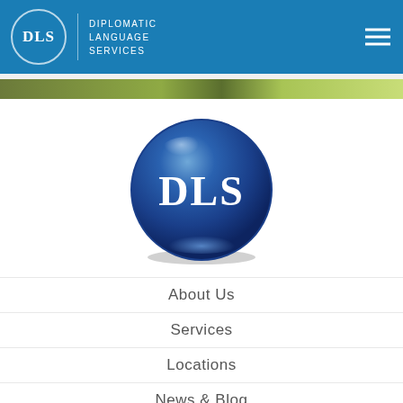DLS | Diplomatic Language Services
[Figure (logo): DLS large blue 3D sphere logo with white serif DLS text]
About Us
Services
Locations
News & Blog
Contact Us
Careers